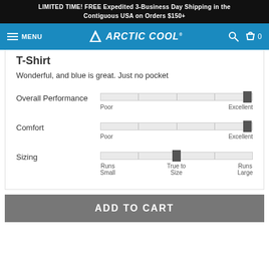LIMITED TIME! FREE Expedited 3-Business Day Shipping in the Contiguous USA on Orders $150+
[Figure (screenshot): Arctic Cool website navigation bar with hamburger menu, MENU text, Arctic Cool logo with triangle icon, search icon, and shopping bag icon with count 0]
T-Shirt
Wonderful, and blue is great. Just no pocket
[Figure (infographic): Overall Performance rating slider showing value near Excellent end, with Poor on left and Excellent on right]
[Figure (infographic): Comfort rating slider showing value near Excellent end, with Poor on left and Excellent on right]
[Figure (infographic): Sizing rating slider showing value at True to Size (center), with Runs Small on left, True to Size in center, and Runs Large on right]
ADD TO CART